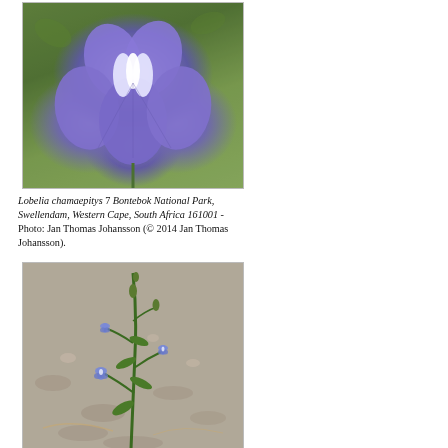[Figure (photo): Close-up photograph of a purple Lobelia chamaepitys flower with five petals, two upper and three lower, with a white center, against a green background]
Lobelia chamaepitys 7 Bontebok National Park, Swellendam, Western Cape, South Africa 161001 - Photo: Jan Thomas Johansson (© 2014 Jan Thomas Johansson).
[Figure (photo): Photograph of a Lobelia chamaepitys plant showing the full stem with small blue flowers and buds against a rocky/gravelly ground background]